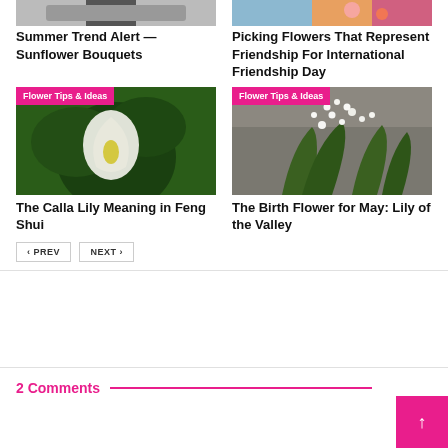[Figure (photo): Top of sunflower bouquet image (cropped, partial view)]
[Figure (photo): Top of flower bouquet with pink and orange flowers (cropped, partial view)]
Summer Trend Alert — Sunflower Bouquets
Picking Flowers That Represent Friendship For International Friendship Day
[Figure (photo): Calla lily flower with green leaves, category badge: Flower Tips & Ideas]
[Figure (photo): Lily of the Valley white flowers on grey background, category badge: Flower Tips & Ideas]
The Calla Lily Meaning in Feng Shui
The Birth Flower for May: Lily of the Valley
PREV  NEXT
2 Comments